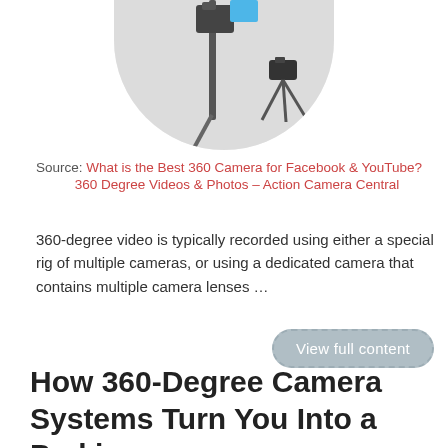[Figure (photo): Partial circular cropped image showing camera equipment on a tripod/monopod setup against a white background]
Source: What is the Best 360 Camera for Facebook & YouTube? 360 Degree Videos & Photos – Action Camera Central
360-degree video is typically recorded using either a special rig of multiple cameras, or using a dedicated camera that contains multiple camera lenses …
View full content
How 360-Degree Camera Systems Turn You Into a Parking